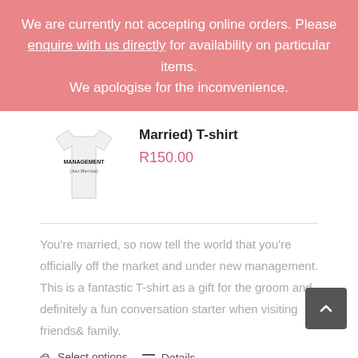We are currently not accepting online orders. Please enquire with us directly for availability on particular items. We apologise for the inconvenience.
[Figure (photo): White t-shirt with 'MANAGEMENT (Just Married)' text printed on it]
Married) T-shirt
R150.00
You're married, so now tell the world that you're officially off the market and under new management. This is a fantastic T-shirt as a gift for the groom and definitely a fun conversation starter when visiting friends & family.
Select options   Details